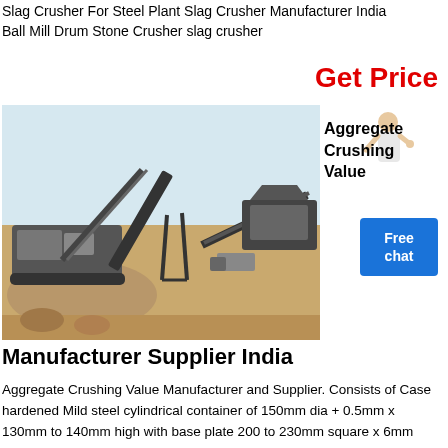Slag Crusher For Steel Plant Slag Crusher Manufacturer India Ball Mill Drum Stone Crusher slag crusher
Get Price
[Figure (photo): Outdoor aggregate/slag crushing plant with conveyor belts, heavy machinery, and piles of crushed material on open ground]
Aggregate Crushing Value
[Figure (photo): Person in white shirt gesturing, with a blue Free chat box overlay]
Manufacturer Supplier India
Aggregate Crushing Value Manufacturer and Supplier. Consists of Case hardened Mild steel cylindrical container of 150mm dia + 0.5mm x 130mm to 140mm high with base plate 200 to 230mm square x 6mm